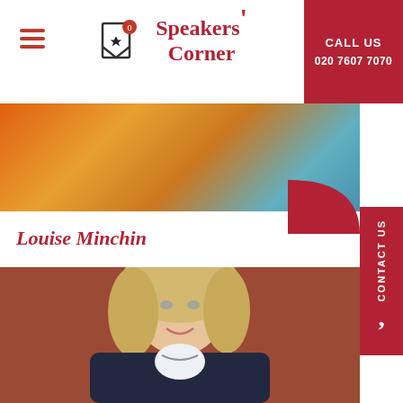Speakers' Corner | CALL US 020 7607 7070
[Figure (photo): Banner photo showing colorful draped fabric in orange, yellow and teal]
Louise Minchin
[Figure (photo): Portrait photo of Louise Minchin, a blonde woman smiling, wearing a dark blazer, standing against a red brick wall]